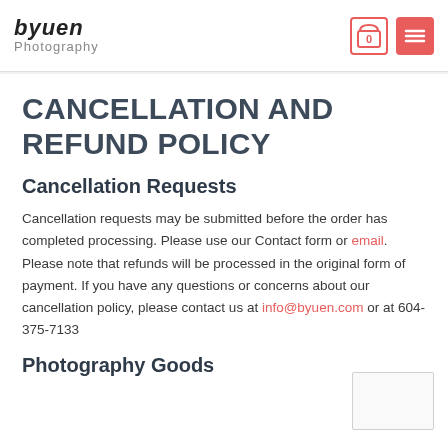byuen Photography | cart 0 | menu
CANCELLATION AND REFUND POLICY
Cancellation Requests
Cancellation requests may be submitted before the order has completed processing. Please use our Contact form or email. Please note that refunds will be processed in the original form of payment. If you have any questions or concerns about our cancellation policy, please contact us at info@byuen.com or at 604-375-7133
Photography Goods